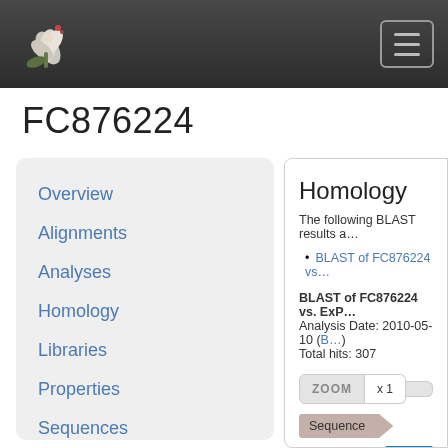FC876224 — site header with logo and menu button
FC876224
Overview
Alignments
Analyses
Homology
Libraries
Properties
Sequences
Homology
The following BLAST results a…
BLAST of FC876224 vs…
BLAST of FC876224 vs. ExP…
Analysis Date: 2010-05-10 (B…
Total hits: 307
ZOOM  x 1
Sequence
G3P1  TRIKO